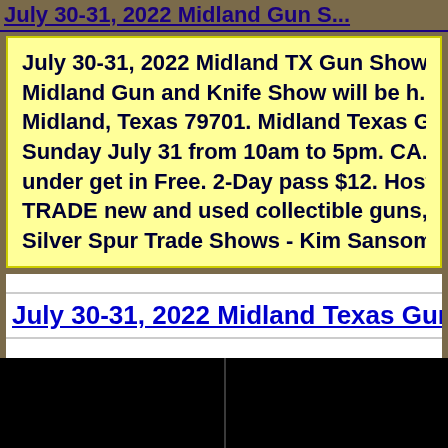July 30-31, 2022 Midland Gun S...
July 30-31, 2022 Midland TX Gun Show Midland Gun and Knife Show will be h... Midland, Texas 79701. Midland Texas G... Sunday July 31 from 10am to 5pm. CA... under get in Free. 2-Day pass $12. Host... TRADE new and used collectible guns,... Silver Spur Trade Shows - Kim Sansom...
July 30-31, 2022 Midland Texas Gun Show